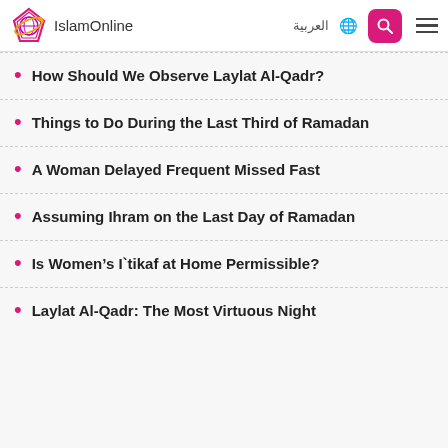IslamOnline
How Should We Observe Laylat Al-Qadr?
Things to Do During the Last Third of Ramadan
A Woman Delayed Frequent Missed Fast
Assuming Ihram on the Last Day of Ramadan
Is Women's I`tikaf at Home Permissible?
Laylat Al-Qadr: The Most Virtuous Night